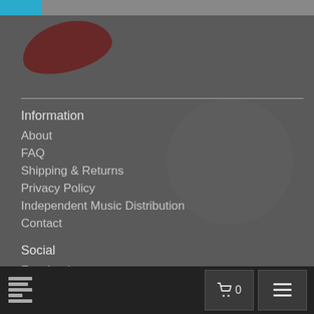[Figure (logo): Top navigation bar with blue accent and gray extension]
[Figure (logo): Dark reddish logo shape in top left area]
Information
About
FAQ
Shipping & Returns
Privacy Policy
Independent Music Distribution
Contact
Social
Facebook
Twitter
Instagram
Discogs
Same day shipping
0